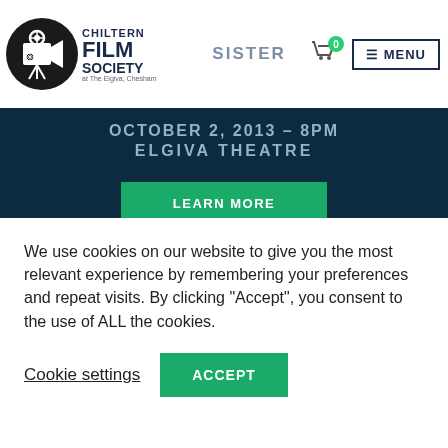[Figure (logo): Chiltern Film Society logo with film camera icon in circle, text CHILTERN FILM SOCIETY at The Elgiva, Chesham]
SISTER
OCTOBER 2, 2013 – 8PM
ELGIVA THEATRE
[Figure (other): LEARN MORE button green]
[Figure (photo): Cohen Media Group Presents - film still with forest/trees background]
We use cookies on our website to give you the most relevant experience by remembering your preferences and repeat visits. By clicking “Accept”, you consent to the use of ALL the cookies.
Cookie settings
ACCEPT